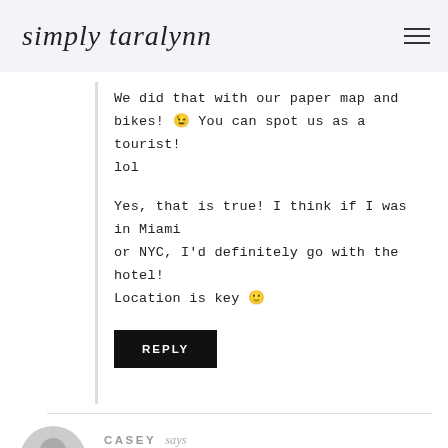simply taralynn
We did that with our paper map and bikes! 🙂 You can spot us as a tourist! lol

Yes, that is true! I think if I was in Miami or NYC, I'd definitely go with the hotel! Location is key 🙂
REPLY
CASEY says
August 29, 2020 at 9:39 am